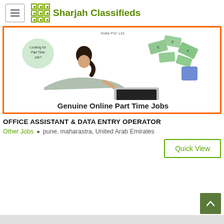Sharjah Classifieds
[Figure (photo): Advertisement image showing a woman lying down using a laptop with money flying out, bordered in orange. Text reads 'Genuine Online Part Time Jobs' with 'India Pvt. Ltd.' at top and a speech bubble saying 'Looking for Part Time Job?']
OFFICE ASSISTANT & DATA ENTRY OPERATOR
Other Jobs  pune, maharastra, United Arab Emirates
Quick View